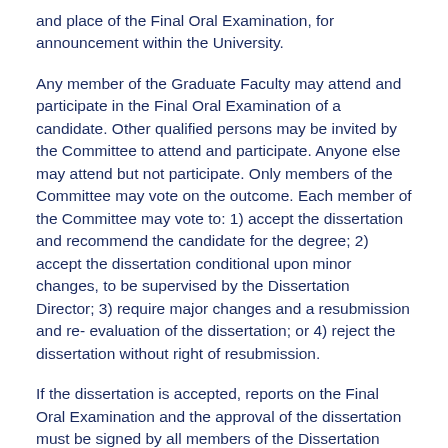and place of the Final Oral Examination, for announcement within the University.
Any member of the Graduate Faculty may attend and participate in the Final Oral Examination of a candidate. Other qualified persons may be invited by the Committee to attend and participate. Anyone else may attend but not participate. Only members of the Committee may vote on the outcome. Each member of the Committee may vote to: 1) accept the dissertation and recommend the candidate for the degree; 2) accept the dissertation conditional upon minor changes, to be supervised by the Dissertation Director; 3) require major changes and a resubmission and re- evaluation of the dissertation; or 4) reject the dissertation without right of resubmission.
If the dissertation is accepted, reports on the Final Oral Examination and the approval of the dissertation must be signed by all members of the Dissertation Committee and sent to the Dean of Graduate Studies for approval. The report on the approval of the dissertation may be signed